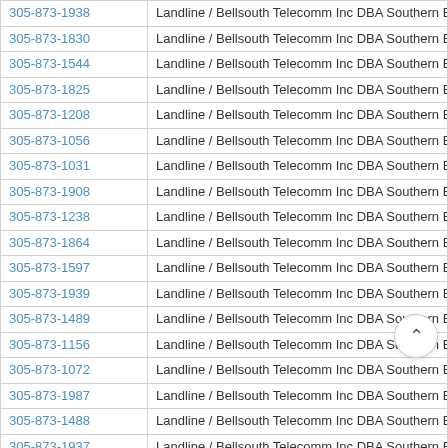| Phone | Type / Carrier |
| --- | --- |
| 305-873-1938 | Landline / Bellsouth Telecomm Inc DBA Southern Bell Tel & Tel |
| 305-873-1830 | Landline / Bellsouth Telecomm Inc DBA Southern Bell Tel & Tel |
| 305-873-1544 | Landline / Bellsouth Telecomm Inc DBA Southern Bell Tel & Tel |
| 305-873-1825 | Landline / Bellsouth Telecomm Inc DBA Southern Bell Tel & Tel |
| 305-873-1208 | Landline / Bellsouth Telecomm Inc DBA Southern Bell Tel & Tel |
| 305-873-1056 | Landline / Bellsouth Telecomm Inc DBA Southern Bell Tel & Tel |
| 305-873-1031 | Landline / Bellsouth Telecomm Inc DBA Southern Bell Tel & Tel |
| 305-873-1908 | Landline / Bellsouth Telecomm Inc DBA Southern Bell Tel & Tel |
| 305-873-1238 | Landline / Bellsouth Telecomm Inc DBA Southern Bell Tel & Tel |
| 305-873-1864 | Landline / Bellsouth Telecomm Inc DBA Southern Bell Tel & Tel |
| 305-873-1597 | Landline / Bellsouth Telecomm Inc DBA Southern Bell Tel & Tel |
| 305-873-1939 | Landline / Bellsouth Telecomm Inc DBA Southern Bell Tel & Tel |
| 305-873-1489 | Landline / Bellsouth Telecomm Inc DBA Southern Bell Tel & Tel |
| 305-873-1156 | Landline / Bellsouth Telecomm Inc DBA Southern Bell Tel & Tel |
| 305-873-1072 | Landline / Bellsouth Telecomm Inc DBA Southern Bell |
| 305-873-1987 | Landline / Bellsouth Telecomm Inc DBA Southern Bell . |
| 305-873-1488 | Landline / Bellsouth Telecomm Inc DBA Southern Bell Tel & Tel |
| 305-873-1937 | Landline / Bellsouth Telecomm Inc DBA Southern Bell Tel & Tel |